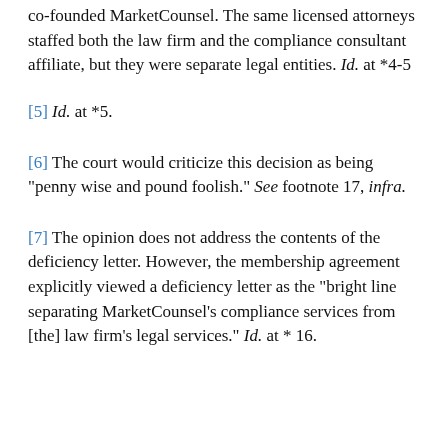co-founded MarketCounsel. The same licensed attorneys staffed both the law firm and the compliance consultant affiliate, but they were separate legal entities. Id. at *4-5
[5] Id. at *5.
[6] The court would criticize this decision as being "penny wise and pound foolish." See footnote 17, infra.
[7] The opinion does not address the contents of the deficiency letter. However, the membership agreement explicitly viewed a deficiency letter as the "bright line separating MarketCounsel's compliance services from [the] law firm's legal services." Id. at * 16.